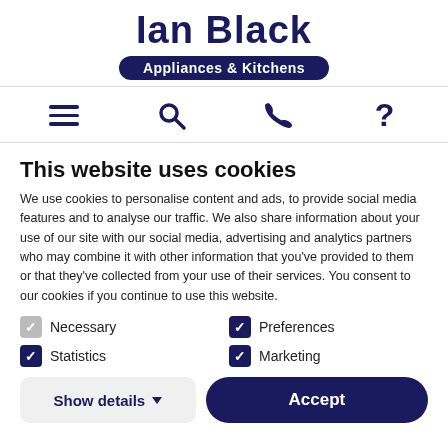[Figure (logo): Ian Black Appliances & Kitchens logo — large dark navy text 'Ian Black' above a dark navy pill-shaped badge with white text 'Appliances & Kitchens']
[Figure (infographic): Navigation bar with four icons: hamburger menu, search magnifier, phone handset, question mark]
This website uses cookies
We use cookies to personalise content and ads, to provide social media features and to analyse our traffic. We also share information about your use of our site with our social media, advertising and analytics partners who may combine it with other information that you've provided to them or that they've collected from your use of their services. You consent to our cookies if you continue to use this website.
Necessary (checked light)
Preferences (checked dark)
Statistics (checked dark)
Marketing (checked dark)
Show details ▼   Accept